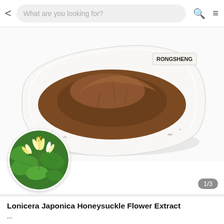What are you looking for?
[Figure (photo): White plate holding a mound of brown powdered Lonicera Japonica honeysuckle flower extract, with a label reading RONGSHENG. A circular inset shows yellow-white honeysuckle flowers on green leaves. Badge shows 1/3.]
Lonicera Japonica Honeysuckle Flower Extract
...